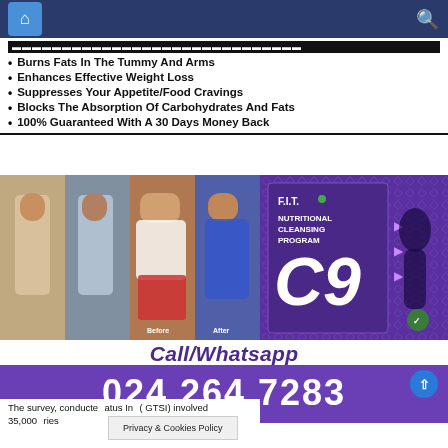Navigation bar with home and search icons
Burns Fats In The Tummy And Arms
Enhances Effective Weight Loss
Suppresses Your Appetite/Food Cravings
Blocks The Absorption Of Carbohydrates And Fats
100% Guaranteed With A 30 Days Money Back
[Figure (photo): Before and after weight loss photos collage with F.I.T. C9 Nutritional Cleansing Program product box]
Call/Whatsapp
024 264 7283
The survey, conducte  atus In  ( GTSI) involved 35,000  ries
Privacy & Cookies Policy